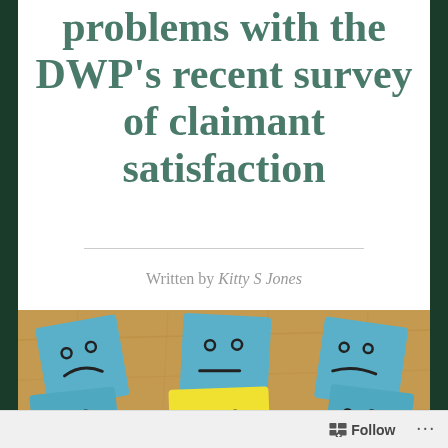problems with the DWP's recent survey of claimant satisfaction
Written by Kitty S Jones
[Figure (photo): Photo of sticky notes on a cork board: multiple blue sticky notes with sad or neutral hand-drawn faces, and one yellow sticky note in the center with a happy smiley face.]
Follow ...